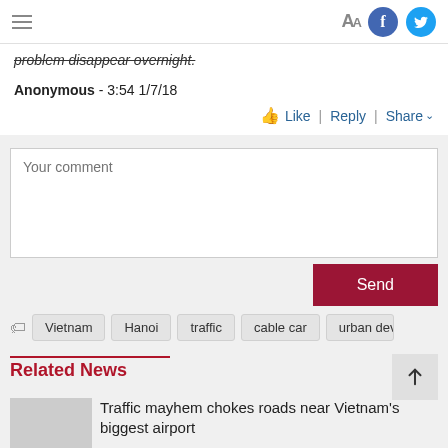AA | Facebook | Twitter
problem disappear overnight.
Anonymous - 3:54 1/7/18
Like | Reply | Share
Your comment
Send
Vietnam | Hanoi | traffic | cable car | urban deve
Related News
Traffic mayhem chokes roads near Vietnam's biggest airport